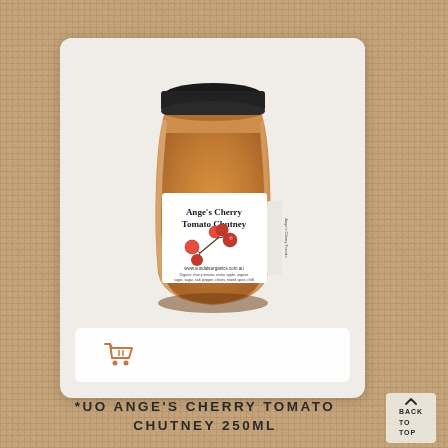[Figure (photo): A glass jar of Ange's Cherry Tomato Chutney 250ml with a dark lid. The white label shows the product name, red cherry tomatoes, website and ingredients text. The jar sits on a white/cream card against a burlap/hessian textured background.]
[Figure (other): Add to cart button bar with an orange shopping cart icon]
*UO ANGE'S CHERRY TOMATO CHUTNEY 250ML